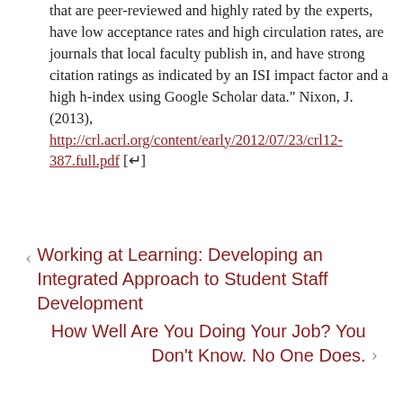that are peer-reviewed and highly rated by the experts, have low acceptance rates and high circulation rates, are journals that local faculty publish in, and have strong citation ratings as indicated by an ISI impact factor and a high h-index using Google Scholar data." Nixon, J. (2013), http://crl.acrl.org/content/early/2012/07/23/crl12-387.full.pdf [↵]
< Working at Learning: Developing an Integrated Approach to Student Staff Development
How Well Are You Doing Your Job? You Don't Know. No One Does. >